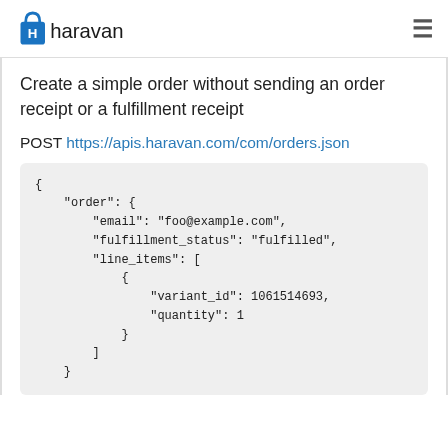[Figure (logo): Haravan logo with shopping bag icon and text 'haravan']
Create a simple order without sending an order receipt or a fulfillment receipt
POST https://apis.haravan.com/com/orders.json
{
    "order": {
        "email": "foo@example.com",
        "fulfillment_status": "fulfilled",
        "line_items": [
            {
                "variant_id": 1061514693,
                "quantity": 1
            }
        ]
    }